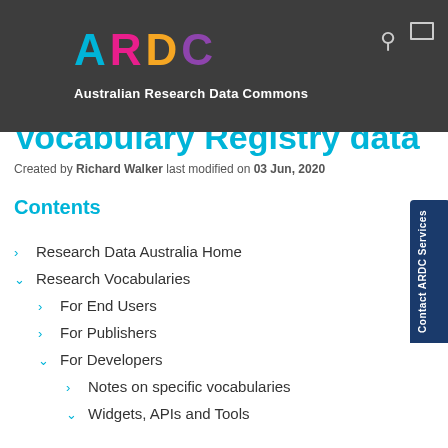[Figure (logo): ARDC logo with coloured letters A (cyan), R (pink), D (orange), C (purple) on dark grey header bar, with tagline 'Australian Research Data Commons']
Vocabulary Registry data
Created by Richard Walker last modified on 03 Jun, 2020
Contents
Research Data Australia Home
Research Vocabularies
For End Users
For Publishers
For Developers
Notes on specific vocabularies
Widgets, APIs and Tools